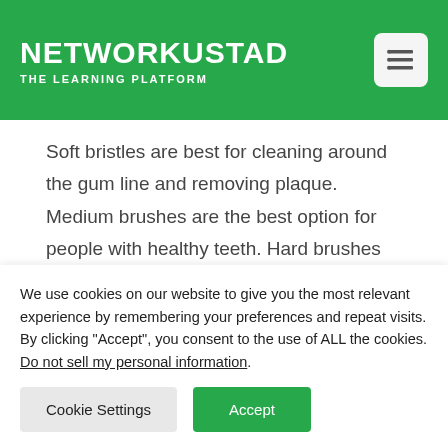NETWORKUSTAD — THE LEARNING PLATFORM
Soft bristles are best for cleaning around the gum line and removing plaque. Medium brushes are the best option for people with healthy teeth. Hard brushes are best used to clean tartar and stains.

It would be best if you always brushed at least twice a day, preferably after breakfast and before bedtime.
We use cookies on our website to give you the most relevant experience by remembering your preferences and repeat visits. By clicking "Accept", you consent to the use of ALL the cookies.
Do not sell my personal information.